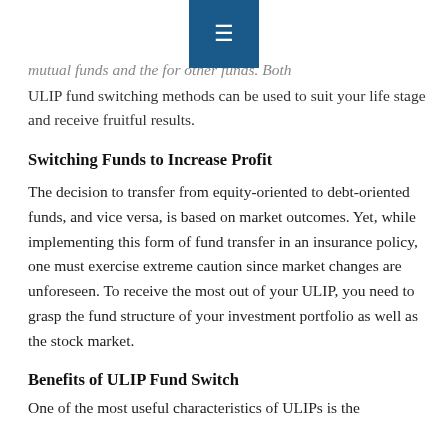≡ (navigation menu icon)
mutual funds and the for other funds. Both ULIP fund switching methods can be used to suit your life stage and receive fruitful results.
Switching Funds to Increase Profit
The decision to transfer from equity-oriented to debt-oriented funds, and vice versa, is based on market outcomes. Yet, while implementing this form of fund transfer in an insurance policy, one must exercise extreme caution since market changes are unforeseen. To receive the most out of your ULIP, you need to grasp the fund structure of your investment portfolio as well as the stock market.
Benefits of ULIP Fund Switch
One of the most useful characteristics of ULIPs is the